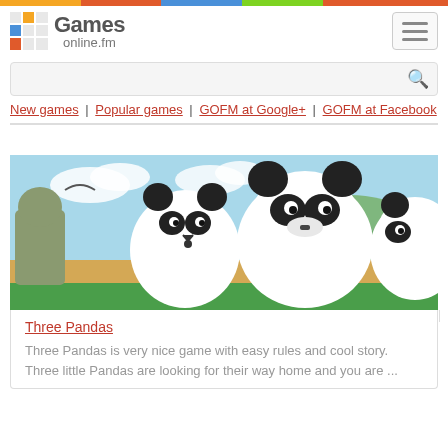Games online.fm
[Figure (screenshot): Games online.fm website header with logo showing colorful pixel squares, site name 'Games online.fm', and a hamburger menu button]
New games | Popular games | GOFM at Google+ | GOFM at Facebook
[Figure (photo): Screenshot of the Three Pandas game showing cartoon panda characters on a beach scene with sky and mountains in background]
Three Pandas
Three Pandas is very nice game with easy rules and cool story. Three little Pandas are looking for their way home and you are ...